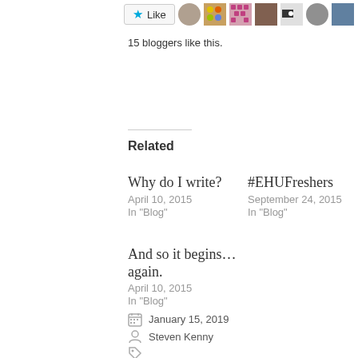[Figure (other): Like button with star icon and blogger avatars row]
15 bloggers like this.
Related
Why do I write?
April 10, 2015
In "Blog"
#EHUFreshers
September 24, 2015
In "Blog"
And so it begins… again.
April 10, 2015
In "Blog"
January 15, 2019
Steven Kenny
art, blogging, creative writing, life, submissions, writing